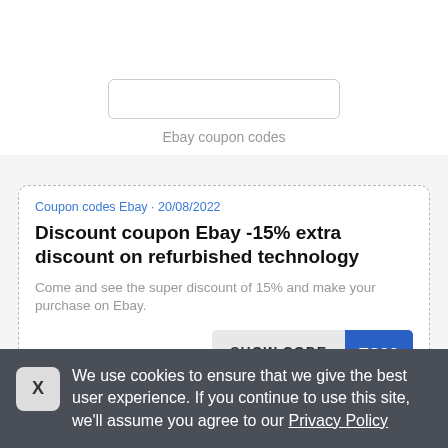Ebay coupon codes
Coupon codes Ebay · 20/08/2022
Discount coupon Ebay -15% extra discount on refurbished technology
Come and see the super discount of 15% and make your purchase on Ebay.
SHOW CODE TS22
Share   1 times used
We use cookies to ensure that we give the best user experience. If you continue to use this site, we'll assume you agree to our Privacy Policy